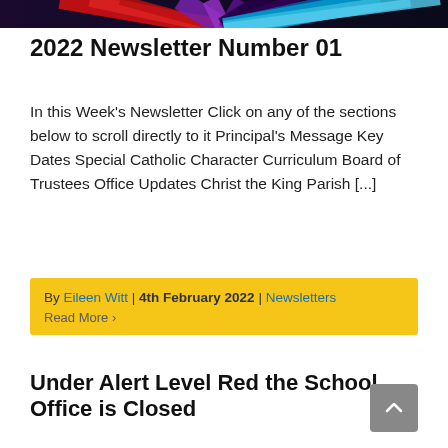[Figure (illustration): Colorful radial banner with red, purple, and blue rays on a dark background]
2022 Newsletter Number 01
In this Week’s Newsletter Click on any of the sections below to scroll directly to it Principal’s Message Key Dates Special Catholic Character Curriculum Board of Trustees Office Updates Christ the King Parish [...]
By Eileen Witt | 4th February 2022 | Newsletters
Read More ›
Under Alert Level Red the School Office is Closed
Our Scott school alert level red is Tuesday 1st...